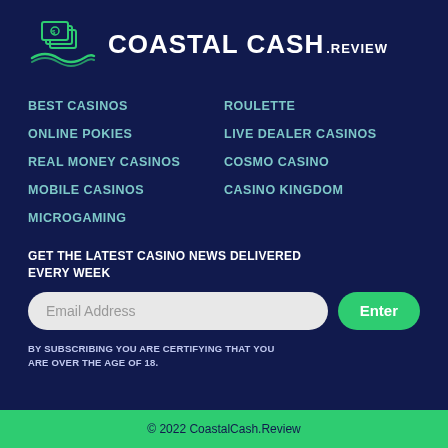[Figure (logo): Coastal Cash Review logo with teal wave and money icon, white text COASTAL CASH.REVIEW]
BEST CASINOS
ROULETTE
ONLINE POKIES
LIVE DEALER CASINOS
REAL MONEY CASINOS
COSMO CASINO
MOBILE CASINOS
CASINO KINGDOM
MICROGAMING
GET THE LATEST CASINO NEWS DELIVERED EVERY WEEK
Email Address
Enter
BY SUBSCRIBING YOU ARE CERTIFYING THAT YOU ARE OVER THE AGE OF 18.
© 2022 CoastalCash.Review